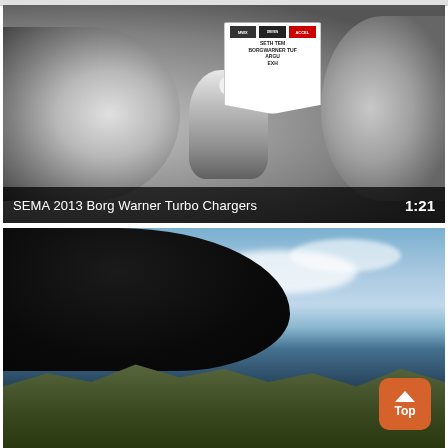[Figure (photo): Close-up photo of a BorgWarner turbocharger at SEMA 2013 with a name badge visible in the upper right area of the image]
SEMA 2013 Borg Warner Turbo Chargers    1:21
[Figure (photo): Photo taken from below a vehicle looking up at the underside of a car with sky and rocky terrain visible in the background]